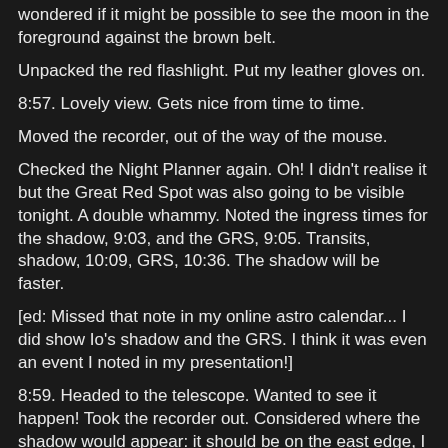wondered if it might be possible to see the moon in the foreground against the brown belt.
Unpacked the red flashlight. Put my leather gloves on.
8:57. Lovely view. Gets nice from time to time.
Moved the recorder, out of the way of the mouse.
Checked the Night Planner again. Oh! I didn't realise it but the Great Red Spot was also going to be visible tonight. A double whammy. Noted the ingress times for the shadow, 9:03, and the GRS, 9:05. Transits, shadow, 10:09, GRS, 10:36. The shadow will be faster.
[ed: Missed that note in my online astro calendar... I did show Io's shadow and the GRS. I think it was even an event I noted in my presentation!]
8:59. Headed to the telescope. Wanted to see it happen! Took the recorder out. Considered where the shadow would appear: it should be on the east edge, I figured.